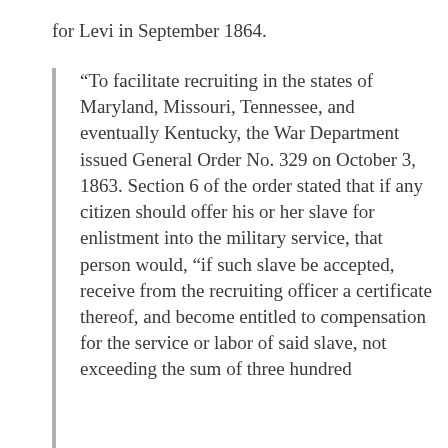for Levi in September 1864.
“To facilitate recruiting in the states of Maryland, Missouri, Tennessee, and eventually Kentucky, the War Department issued General Order No. 329 on October 3, 1863. Section 6 of the order stated that if any citizen should offer his or her slave for enlistment into the military service, that person would, “if such slave be accepted, receive from the recruiting officer a certificate thereof, and become entitled to compensation for the service or labor of said slave, not exceeding the sum of three hundred